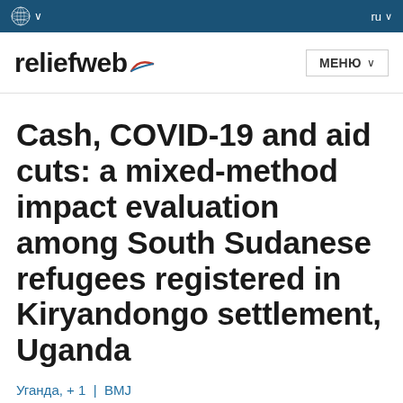reliefweb | МЕНЮ | ru
Cash, COVID-19 and aid cuts: a mixed-method impact evaluation among South Sudanese refugees registered in Kiryandongo settlement, Uganda
Уганда, + 1 | BMJ
17 мая 2022 г.   Просмотреть оригинал